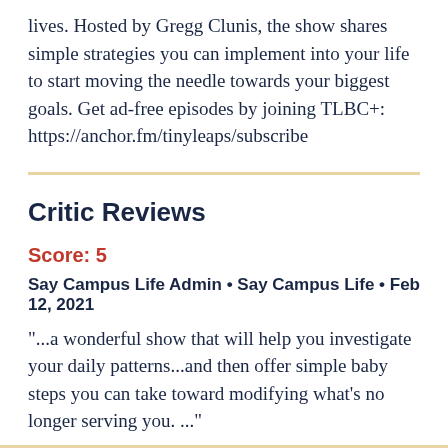lives. Hosted by Gregg Clunis, the show shares simple strategies you can implement into your life to start moving the needle towards your biggest goals. Get ad-free episodes by joining TLBC+: https://anchor.fm/tinyleaps/subscribe
Critic Reviews
Score: 5
Say Campus Life Admin • Say Campus Life • Feb 12, 2021
"...a wonderful show that will help you investigate your daily patterns...and then offer simple baby steps you can take toward modifying what's no longer serving you. ..."
See Full Review